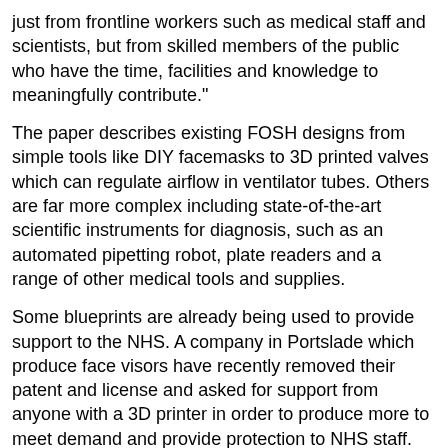just from frontline workers such as medical staff and scientists, but from skilled members of the public who have the time, facilities and knowledge to meaningfully contribute."
The paper describes existing FOSH designs from simple tools like DIY facemasks to 3D printed valves which can regulate airflow in ventilator tubes. Others are far more complex including state-of-the-art scientific instruments for diagnosis, such as an automated pipetting robot, plate readers and a range of other medical tools and supplies.
Some blueprints are already being used to provide support to the NHS. A company in Portslade which produce face visors have recently removed their patent and license and asked for support from anyone with a 3D printer in order to produce more to meet demand and provide protection to NHS staff.
But for those unverified designs, testing and approval can be a lengthy process.
André Chagas said: “One thing governments could do right now, is to figure out a process in which we can legitimately fast track the testing and certification of tools which are in short supply.”